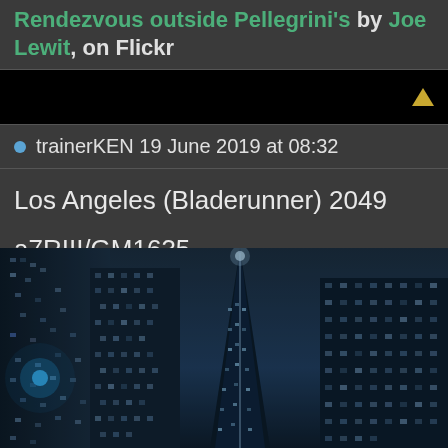Rendezvous outside Pellegrini's by Joe Lewit, on Flickr
[Figure (other): Black navigation bar with upward-pointing yellow/gold triangle arrow button on the right]
trainerKEN 19 June 2019 at 08:32
Los Angeles (Bladerunner) 2049
a7RIII/GM1635
[Figure (photo): Nighttime photo of skyscrapers shot from a low angle looking up, with deep blue sky and illuminated building facades, reminiscent of Blade Runner 2049 aesthetic]